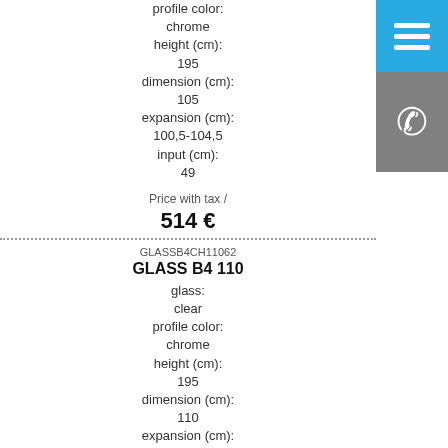profile color:
chrome
height (cm):
195
dimension (cm):
105
expansion (cm):
100,5-104,5
input (cm):
49
Price with tax /
514 €
GLASSB4CH11062
GLASS B4 110
glass:
clear
profile color:
chrome
height (cm):
195
dimension (cm):
110
expansion (cm):
106,7-110,7
input (cm):
53